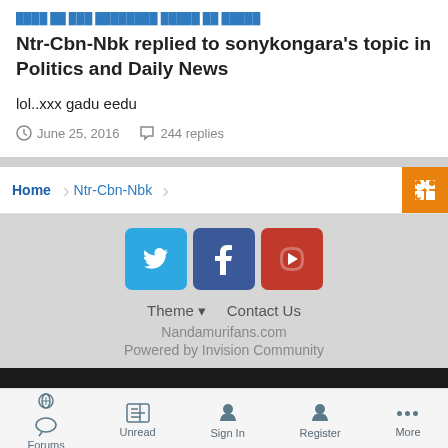Ntr-Cbn-Nbk replied to sonykongara's topic in Politics and Daily News
lol..xxx gadu eedu
June 25, 2016   244 replies
Home  Ntr-Cbn-Nbk
[Figure (infographic): Social media icons: Twitter, Facebook, YouTube]
Theme  Contact Us
Nandamurifans.com
Powered by Invision Community
Forums  Unread  Sign In  Register  More